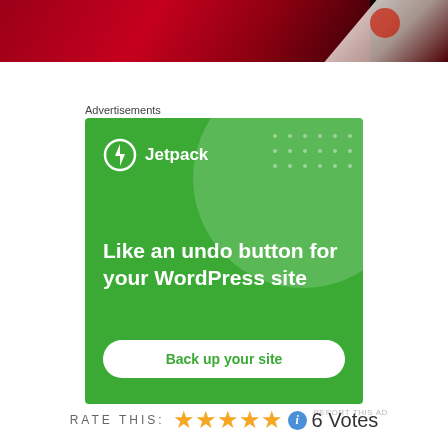[Figure (photo): Partial photo of food items — red/dark red textured surface with white dish or plate element visible at top right.]
Advertisements
[Figure (screenshot): Jetpack advertisement banner on green background. Shows Jetpack logo with lightning bolt icon, headline 'Like an undo button for your WordPress site', and a white rounded button labeled 'Back up your site'.]
REPORT THIS AD
RATE THIS: ★★★★★ ℹ 6 Votes